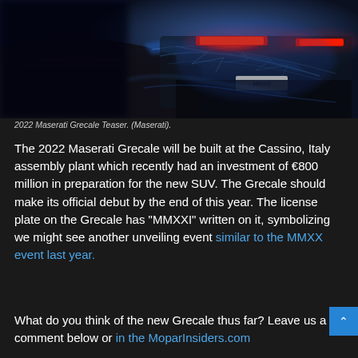[Figure (photo): 2022 Maserati Grecale teaser image showing the rear of the car with red taillights and blue light effects against a dark background]
2022 Maserati Grecale Teaser. (Maserati).
The 2022 Maserati Grecale will be built at the Cassino, Italy assembly plant which recently had an investment of €800 million in preparation for the new SUV. The Grecale should make its official debut by the end of this year. The license plate on the Grecale has "MMXXI" written on it, symbolizing we might see another unveiling event similar to the MMXX event last year.
What do you think of the new Grecale thus far? Leave us a comment below or in the MoparInsiders.com